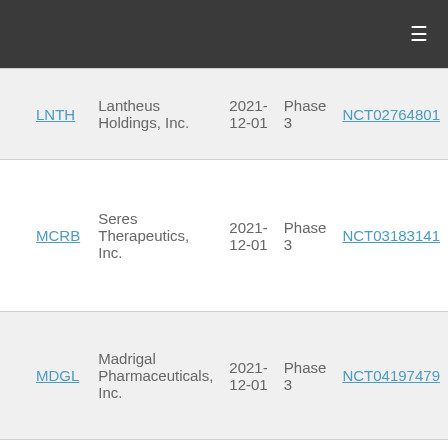| Ticker | Company | Date | Phase | NCT |
| --- | --- | --- | --- | --- |
| LNTH | Lantheus Holdings, Inc. | 2021-12-01 | Phase 3 | NCT02764801 |
| MCRB | Seres Therapeutics, Inc. | 2021-12-01 | Phase 3 | NCT03183141 |
| MDGL | Madrigal Pharmaceuticals, Inc. | 2021-12-01 | Phase 3 | NCT04197479 |